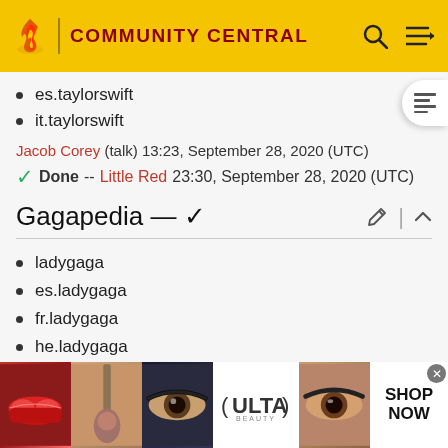COMMUNITY CENTRAL
es.taylorswift
it.taylorswift
Jacob Corey (talk) 13:23, September 28, 2020 (UTC)
✓ Done --Little Red 23:30, September 28, 2020 (UTC)
Gagapedia — ✓
ladygaga
es.ladygaga
fr.ladygaga
he.ladygaga
[Figure (photo): Ulta Beauty advertisement banner at the bottom of the page showing makeup/cosmetics imagery]